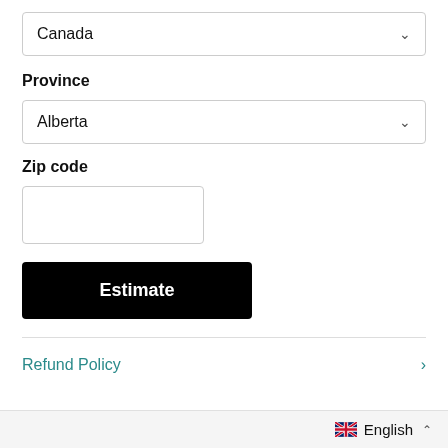Canada
Province
Alberta
Zip code
Estimate
Refund Policy
English